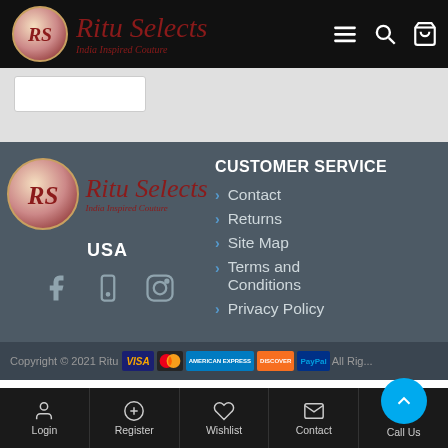Ritu Selects - India Inspired Couture
CUSTOMER SERVICE
Contact
Returns
Site Map
Terms and Conditions
Privacy Policy
USA
Copyright © 2021 Ritu Selects All Rights Reserved
Login | Register | Wishlist | Contact | Call Us